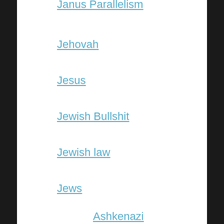Janus Parallelism
Jehovah
Jesus
Jewish Bullshit
Jewish law
Jews
Ashkenazi
Sephardi
Joshua
Judaism/Christianity/Islam